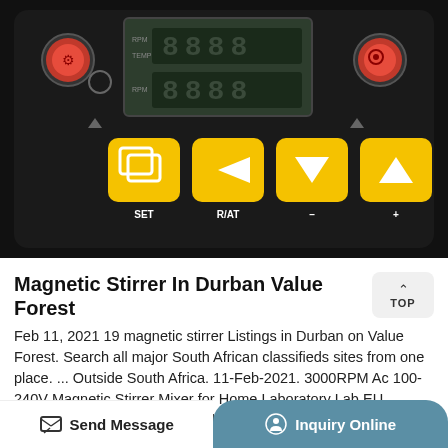[Figure (photo): Close-up photo of a magnetic stirrer control panel with digital display showing 8-segment digits, yellow control buttons labeled SET, R/AT, minus, and plus, and two red circular buttons on either side.]
Magnetic Stirrer In Durban Value Forest
Feb 11, 2021 19 magnetic stirrer Listings in Durban on Value Forest. Search all major South African classifieds sites from one place. ... Outside South Africa. 11-Feb-2021. 3000RPM Ac 100-240V Magnetic Stirrer Mixer for Home Laboratory Lab EU /us/uk/au Plug. R 1,500. Outside South Africa. 29-Jan-2021